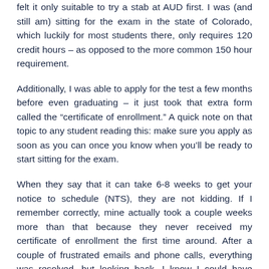felt it only suitable to try a stab at AUD first. I was (and still am) sitting for the exam in the state of Colorado, which luckily for most students there, only requires 120 credit hours – as opposed to the more common 150 hour requirement.
Additionally, I was able to apply for the test a few months before even graduating – it just took that extra form called the "certificate of enrollment." A quick note on that topic to any student reading this: make sure you apply as soon as you can once you know when you'll be ready to start sitting for the exam.
When they say that it can take 6-8 weeks to get your notice to schedule (NTS), they are not kidding. If I remember correctly, mine actually took a couple weeks more than that because they never received my certificate of enrollment the first time around. After a couple of frustrated emails and phone calls, everything was resolved, but looking back, I know I could have benefited by having my NTS sooner so I could have scheduled AUD...